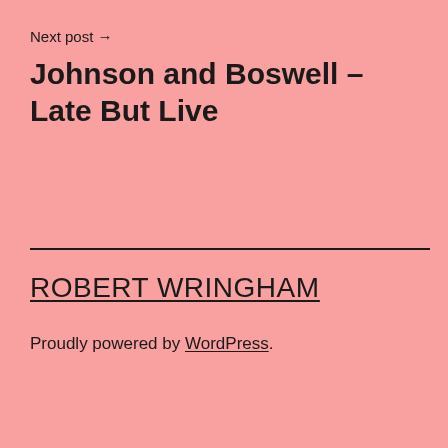Next post →
Johnson and Boswell – Late But Live
ROBERT WRINGHAM
Proudly powered by WordPress.